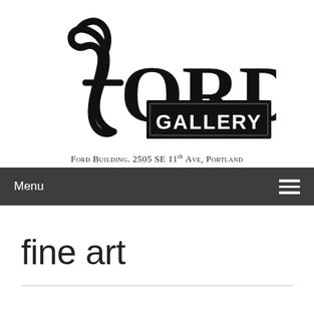[Figure (logo): Ford Gallery logo with stylized 'f' in cursive and 'ORD' in large serif letters, with 'GALLERY' in a black rectangle below]
Ford Building. 2505 SE 11th Ave, Portland
Menu
fine art